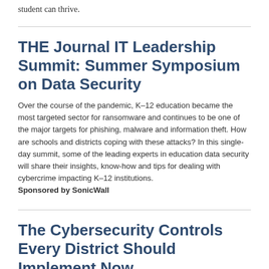student can thrive.
THE Journal IT Leadership Summit: Summer Symposium on Data Security
Over the course of the pandemic, K–12 education became the most targeted sector for ransomware and continues to be one of the major targets for phishing, malware and information theft. How are schools and districts coping with these attacks? In this single-day summit, some of the leading experts in education data security will share their insights, know-how and tips for dealing with cybercrime impacting K–12 institutions.
Sponsored by SonicWall
The Cybersecurity Controls Every District Should Implement Now